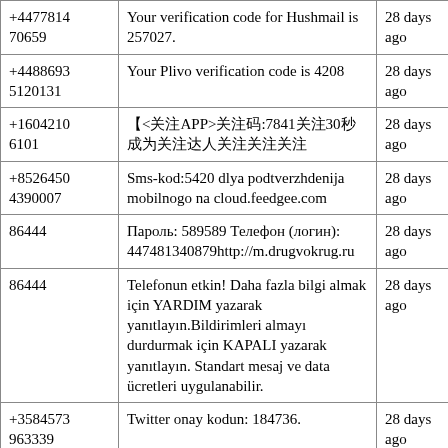| Phone | Message | Time |
| --- | --- | --- |
| +4477814 70659 | Your verification code for Hushmail is 257027. | 28 days ago |
| +4488693 5120131 | Your Plivo verification code is 4208 | 28 days ago |
| +1604210 6101 | 【<关注APP>关注码:7841关注30秒成为关注达人关注关注 | 28 days ago |
| +8526450 4390007 | Sms-kod:5420 dlya podtverzhdenija mobilnogo na cloud.feedgee.com | 28 days ago |
| 86444 | Пароль: 589589 Телефон (логин): 447481340879http://m.drugvokrug.ru | 28 days ago |
| 86444 | Telefonun etkin! Daha fazla bilgi almak için YARDIM yazarak yanıtlayın.Bildirimleri almayı durdurmak için KAPALI yazarak yanıtlayın. Standart mesaj ve data ücretleri uygulanabilir. | 28 days ago |
| +3584573 963339 | Twitter onay kodun: 184736. | 28 days ago |
| +4478600 34063 | Your Wolt code is 59942 | 28 days ago |
| +4478600… | Alex, Loan up-to £2500. No Obligatio n& Online Application Form. I Mo… | 28 d… |